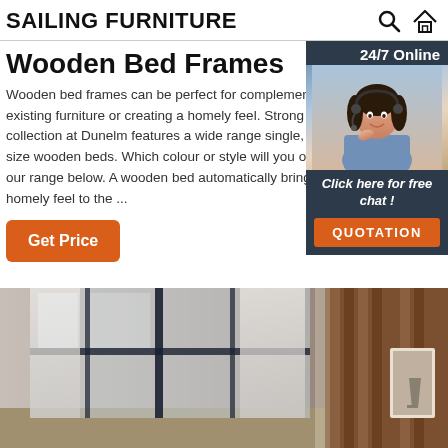SAILING FURNITURE
Wooden Bed Frames
Wooden bed frames can be perfect for complementing existing furniture or creating a homely feel. Strong and collection at Dunelm features a wide range single, double size wooden beds. Which colour or style will you opt for our range below. A wooden bed automatically brings homely feel to the ...
[Figure (infographic): Customer support widget showing a woman with headset, '24/7 Online' header, 'Click here for free chat!' text, and 'QUOTATION' button]
Get Price
[Figure (photo): Bedroom interior photo showing windows with sheer curtains and wooden wall paneling on the right side]